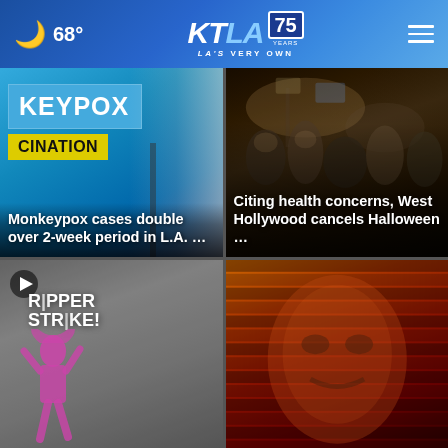🌙 68° KTLA 75 YEARS LA'S VERY OWN
[Figure (screenshot): News card: Monkeypox vaccination sign in blue, text overlay reads 'Monkeypox cases double over 2-week period in L.A. ...']
[Figure (screenshot): News card: Crowd photo at night, text overlay reads 'Citing health concerns, West Hollywood cancels Halloween ...']
[Figure (screenshot): News card with play button: Sign reading 'RIPPER STRIKE!' with silhouette figure]
[Figure (screenshot): News card: Artistic image with warm red/orange tones, face or mural]